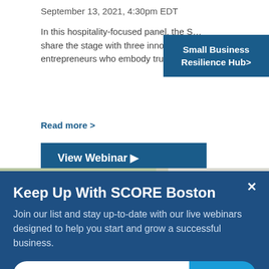September 13, 2021, 4:30pm EDT
In this hospitality-focused panel, the S… share the stage with three innovative entrepreneurs who embody true American grit.
Small Business Resilience Hub>
Read more >
View Webinar ▶
Keep Up With SCORE Boston
Join our list and stay up-to-date with our live webinars designed to help you start and grow a successful business.
email address
SUBMIT
[Figure (photo): Person holding a 'Come In We're OPEN' sign, with another person in background holding a coffee cup]
Recorded Webinar